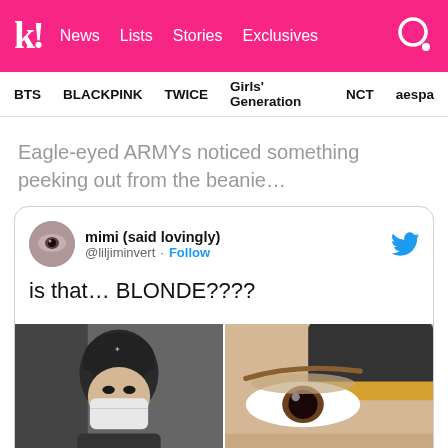k! News Lists Stories Exclusives
BTS BLACKPINK TWICE Girls' Generation NCT aespa
Eagle-eyed ARMYs noticed something peeking out from the beanie…
[Figure (screenshot): Embedded tweet from @liljiminvert (mimi, said lovingly) with text 'is that... BLONDE????' and two photos: left shows a person wearing a black beanie and white face mask, right shows a close-up of an eye with blonde hair peeking from under a dark beanie.]